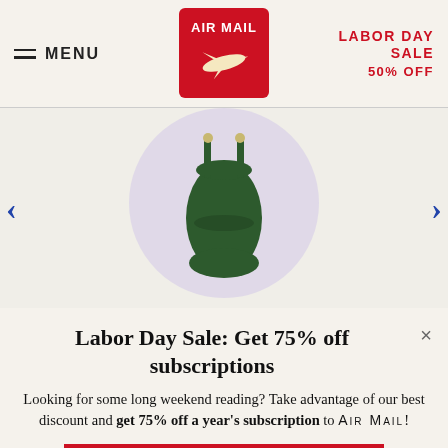MENU | AIR MAIL | LABOR DAY SALE 50% OFF
[Figure (photo): Green one-piece swimsuit on a light purple circular background, with navigation arrows on left and right]
Labor Day Sale: Get 75% off subscriptions
Looking for some long weekend reading? Take advantage of our best discount and get 75% off a year’s subscription to AIR MAIL!
SUBSCRIBE TODAY
Already a subscriber? Sign in now.